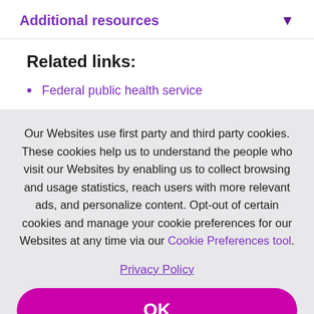Additional resources
Related links:
Federal public health service
Our Websites use first party and third party cookies. These cookies help us to understand the people who visit our Websites by enabling us to collect browsing and usage statistics, reach users with more relevant ads, and personalize content. Opt-out of certain cookies and manage your cookie preferences for our Websites at any time via our Cookie Preferences tool.
Privacy Policy
OK